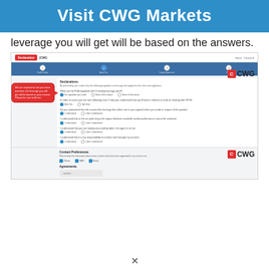Visit CWG Markets
leverage you will get will be based on the answers.
[Figure (screenshot): Screenshot of CWG Markets account registration Declaration page showing a multi-step form with questions about trading leverage, a red callout bubble saying 'We are required to ask you some question, the leverage you will get will be based on your answer. Please be sure to fill out.', radio button options, and CWG logo watermarks. Below is a Contact Preferences section and an Agreements section with a Confirm button.]